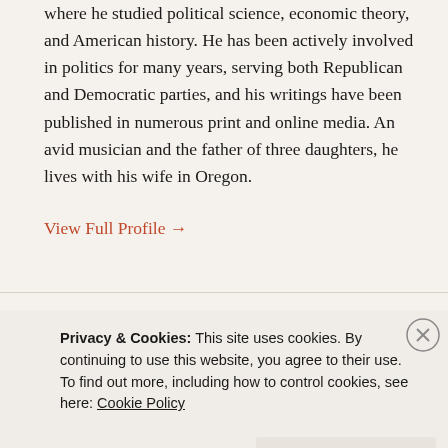where he studied political science, economic theory, and American history. He has been actively involved in politics for many years, serving both Republican and Democratic parties, and his writings have been published in numerous print and online media. An avid musician and the father of three daughters, he lives with his wife in Oregon.
View Full Profile →
Recent Posts
The Strength & Beauty Of Democracy
Privacy & Cookies: This site uses cookies. By continuing to use this website, you agree to their use.
To find out more, including how to control cookies, see here: Cookie Policy